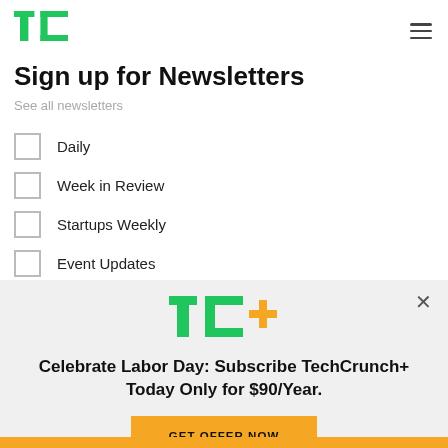TechCrunch logo and navigation
Sign up for Newsletters
See all newsletters
Daily
Week in Review
Startups Weekly
Event Updates
[Figure (logo): TC+ logo in green and yellow]
Celebrate Labor Day: Subscribe TechCrunch+ Today Only for $90/Year.
GET OFFER NOW